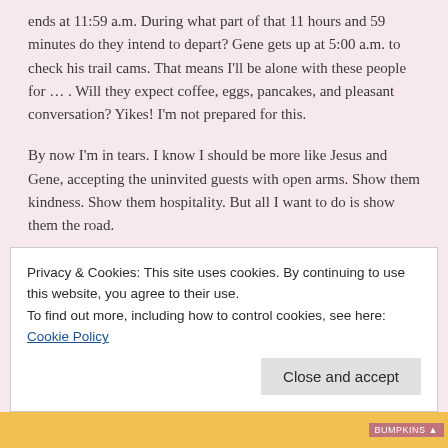ends at 11:59 a.m. During what part of that 11 hours and 59 minutes do they intend to depart? Gene gets up at 5:00 a.m. to check his trail cams. That means I'll be alone with these people for … . Will they expect coffee, eggs, pancakes, and pleasant conversation? Yikes! I'm not prepared for this.
By now I'm in tears. I know I should be more like Jesus and Gene, accepting the uninvited guests with open arms. Show them kindness. Show them hospitality. But all I want to do is show them the road.
The Biggest Surprise
So I pray for forgiveness. I get an unexpected answer as I sense the Lord speak to my spirit.
Privacy & Cookies: This site uses cookies. By continuing to use this website, you agree to their use.
To find out more, including how to control cookies, see here: Cookie Policy